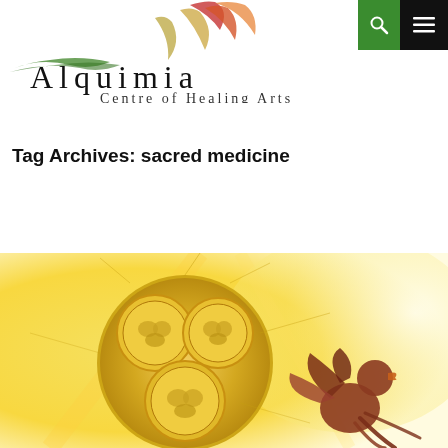[Figure (logo): Alquimia Centre of Healing Arts logo with colorful smoke/flame wisps above the text]
[Figure (illustration): Navigation bar icons: green search icon and black hamburger menu icon]
Tag Archives: sacred medicine
[Figure (illustration): Artistic illustration with golden circular mandala-like medallion containing coin-like circles with ornate designs, and a reddish bird/phoenix figure on a warm yellow glowing background]